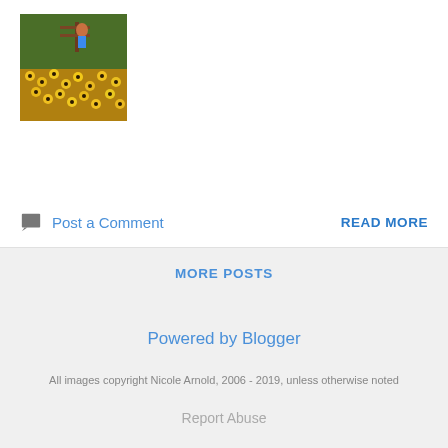[Figure (photo): A photo of a garden scene with yellow flowers (likely black-eyed Susans) and a person or figure in the background near a structure, viewed from above.]
Post a Comment
READ MORE
MORE POSTS
Powered by Blogger
All images copyright Nicole Arnold, 2006 - 2019, unless otherwise noted
Report Abuse